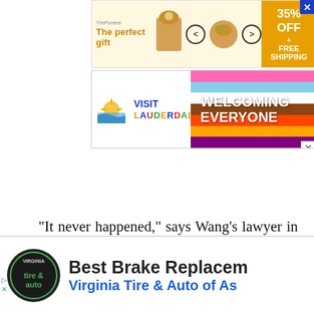[Figure (other): Advertisement banner: 'The perfect gift' with food imagery, arrows, and orange box showing 35% OFF + FREE SHIPPING]
[Figure (other): Advertisement banner: Visit Lauderdale - Welcoming Everyone with rainbow pride flag colors and chevron arrows]
“It never happened,” says Wang’s lawyer in a public statement. According to his representation, Wang “believes Mooney is mistaken about who allegedly groped him.”
[Figure (other): Advertisement: Virginia Tire & Auto - Best Brake Replacement with circular logo]